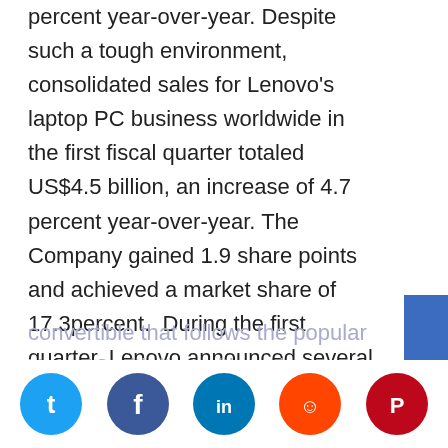percent year-over-year. Despite such a tough environment, consolidated sales for Lenovo's laptop PC business worldwide in the first fiscal quarter totaled US$4.5 billion, an increase of 4.7 percent year-over-year. The Company gained 1.9 share points and achieved a market share of 17.3percent.  During the first quarter, Lenovo announced several new laptops that have quickly become strong sellers including the ThinkPad T431s, the thinnest T series ever; Yoga 11s, a thin convertible that follows the popular Yoga 13 with its multi-mode capabilities in
[Figure (other): Lenovo brand tab on the right side of the page, blue vertical rectangle with 'Lenovo' text rotated.]
[Figure (other): Social media sharing bar with icons for Twitter, Facebook, LinkedIn, Reddit, and Pinterest.]